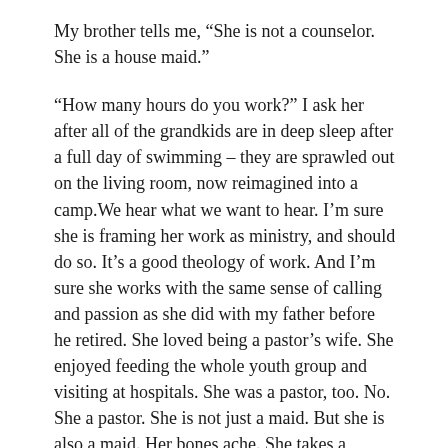My brother tells me, “She is not a counselor. She is a house maid.”
“How many hours do you work?” I ask her after all of the grandkids are in deep sleep after a full day of swimming – they are sprawled out on the living room, now reimagined into a camp.We hear what we want to hear. I’m sure she is framing her work as ministry, and should do so. It’s a good theology of work. And I’m sure she works with the same sense of calling and passion as she did with my father before he retired. She loved being a pastor’s wife. She enjoyed feeding the whole youth group and visiting at hospitals. She was a pastor, too. No. She a pastor. She is not just a maid. But she is also a maid. Her bones ache. She takes a painkiller almost every evening.
“20 hours, 40 hours.”
I tell her my brother told me that she works 60 hours